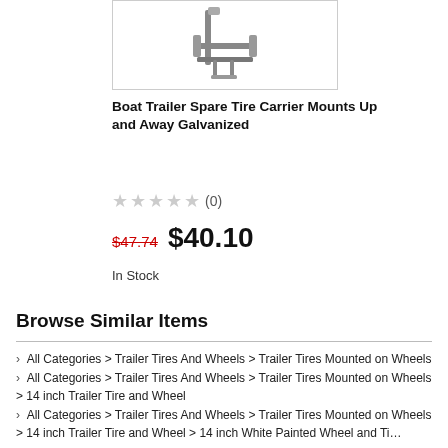[Figure (photo): Product photo of a galvanized boat trailer spare tire carrier, shown partially cropped at top of page inside a bordered box.]
Boat Trailer Spare Tire Carrier Mounts Up and Away Galvanized
★★★★★ (0)
$47.74  $40.10
In Stock
Browse Similar Items
> All Categories > Trailer Tires And Wheels > Trailer Tires Mounted on Wheels
> All Categories > Trailer Tires And Wheels > Trailer Tires Mounted on Wheels > 14 inch Trailer Tire and Wheel
> All Categories > Trailer Tires And Wheels > Trailer Tires Mounted on Wheels > 14 inch Trailer Tire and Wheel > 14 inch White Painted Wheel and Tire